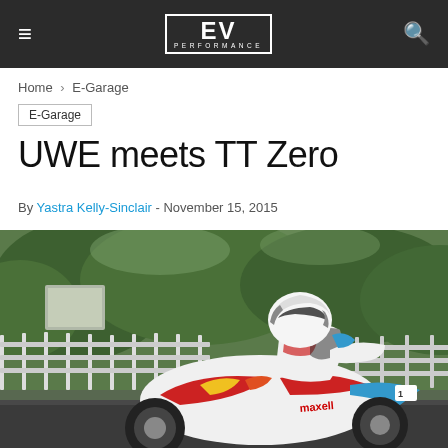EV PERFORMANCE
Home › E-Garage
E-Garage
UWE meets TT Zero
By Yastra Kelly-Sinclair - November 15, 2015
[Figure (photo): A motorcycle racer in white and red racing suit and helmet leaning into a corner on a colorful electric racing motorcycle (with Maxell branding, red/blue/yellow livery) at the TT Zero race, with green trees and white metal fencing in the background.]